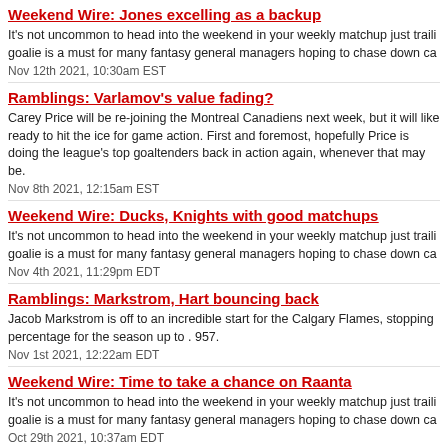Weekend Wire: Jones excelling as a backup
It's not uncommon to head into the weekend in your weekly matchup just trailing goalie is a must for many fantasy general managers hoping to chase down ca...
Nov 12th 2021, 10:30am EST
Ramblings: Varlamov's value fading?
Carey Price will be re-joining the Montreal Canadiens next week, but it will lik ready to hit the ice for game action. First and foremost, hopefully Price is doing the league's top goaltenders back in action again, whenever that may be.
Nov 8th 2021, 12:15am EST
Weekend Wire: Ducks, Knights with good matchups
It's not uncommon to head into the weekend in your weekly matchup just traili goalie is a must for many fantasy general managers hoping to chase down ca...
Nov 4th 2021, 11:29pm EDT
Ramblings: Markstrom, Hart bouncing back
Jacob Markstrom is off to an incredible start for the Calgary Flames, stopping percentage for the season up to . 957.
Nov 1st 2021, 12:22am EDT
Weekend Wire: Time to take a chance on Raanta
It's not uncommon to head into the weekend in your weekly matchup just traili goalie is a must for many fantasy general managers hoping to chase down ca...
Oct 29th 2021, 10:37am EDT
Ramblings: Fleury struggling, Sorokin thriving
It's been a disastrous start to the season for Marc-Andre Fleury and Chicago B...
Oct 25th 2021, 10:52am EDT
Weekend Wire: Grab Holtby, Avoid DeSmith